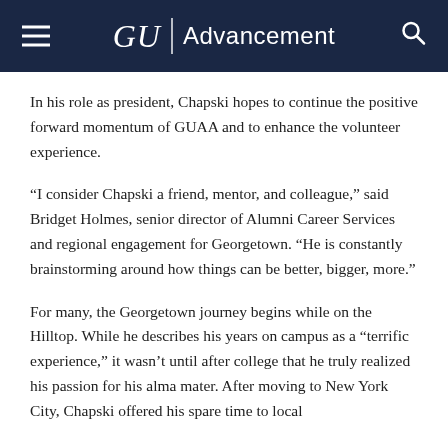GU | Advancement
In his role as president, Chapski hopes to continue the positive forward momentum of GUAA and to enhance the volunteer experience.
“I consider Chapski a friend, mentor, and colleague,” said Bridget Holmes, senior director of Alumni Career Services and regional engagement for Georgetown. “He is constantly brainstorming around how things can be better, bigger, more.”
For many, the Georgetown journey begins while on the Hilltop. While he describes his years on campus as a “terrific experience,” it wasn’t until after college that he truly realized his passion for his alma mater. After moving to New York City, Chapski offered his spare time to local